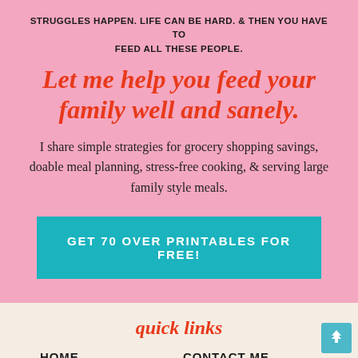STRUGGLES HAPPEN. LIFE CAN BE HARD. & THEN YOU HAVE TO FEED ALL THESE PEOPLE.
Let me help you feed your family well and sanely.
I share simple strategies for grocery shopping savings, doable meal planning, stress-free cooking, & serving large family style meals.
GET 70 OVER PRINTABLES FOR FREE!
quick links
HOME
CONTACT ME
ABOUT
SHOP